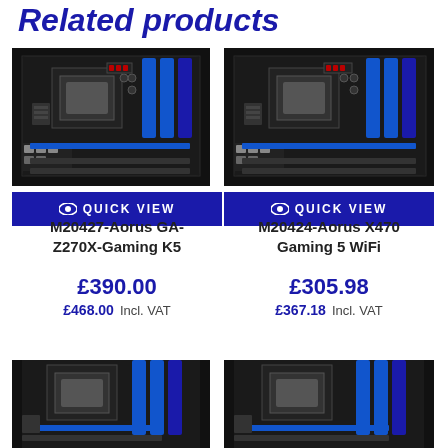Related products
[Figure (photo): Motherboard product image - M20427-Aorus GA-Z270X-Gaming K5]
QUICK VIEW
M20427-Aorus GA-Z270X-Gaming K5
£390.00
£468.00  Incl. VAT
[Figure (photo): Motherboard product image - M20424-Aorus X470 Gaming 5 WiFi]
QUICK VIEW
M20424-Aorus X470 Gaming 5 WiFi
£305.98
£367.18  Incl. VAT
[Figure (photo): Partial motherboard product image (bottom left, cropped)]
[Figure (photo): Partial motherboard product image (bottom right, cropped)]